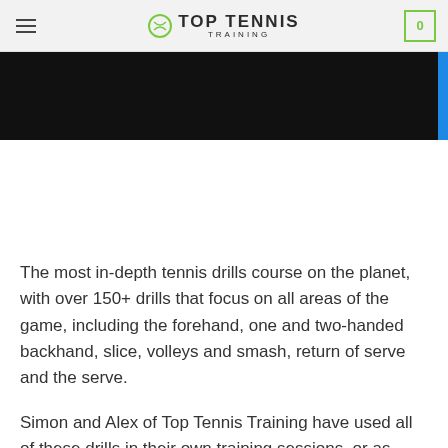TOP TENNIS TRAINING
[Figure (photo): Black banner/hero image area at top of webpage]
The most in-depth tennis drills course on the planet, with over 150+ drills that focus on all areas of the game, including the forehand, one and two-handed backhand, slice, volleys and smash, return of serve and the serve.
Simon and Alex of Top Tennis Training have used all of these drills in their own training sessions, or as coaches working with players of all